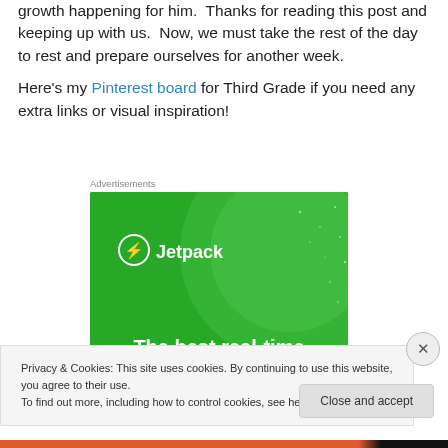growth happening for him. Thanks for reading this post and keeping up with us. Now, we must take the rest of the day to rest and prepare ourselves for another week.
Here's my Pinterest board for Third Grade if you need any extra links or visual inspiration!
[Figure (screenshot): Jetpack advertisement banner with green background showing the Jetpack logo and the text 'The best real-time']
Privacy & Cookies: This site uses cookies. By continuing to use this website, you agree to their use.
To find out more, including how to control cookies, see here: Cookie Policy